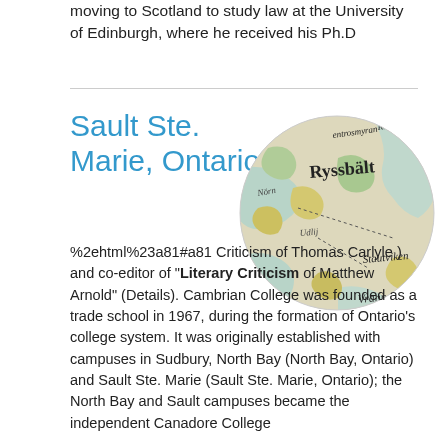moving to Scotland to study law at the University of Edinburgh, where he received his Ph.D
Sault Ste. Marie, Ontario
[Figure (map): Circular cropped historical map showing Scandinavian-style place names including Ryssbält, Stautviken, Vrann, with terrain features in yellow, green, and blue tones.]
%2ehtml%23a81#a81 Criticism of Thomas Carlyle ) and co-editor of "Literary Criticism of Matthew Arnold" (Details). Cambrian College was founded as a trade school in 1967, during the formation of Ontario's college system. It was originally established with campuses in Sudbury, North Bay (North Bay, Ontario) and Sault Ste. Marie (Sault Ste. Marie, Ontario); the North Bay and Sault campuses became the independent Canadore College